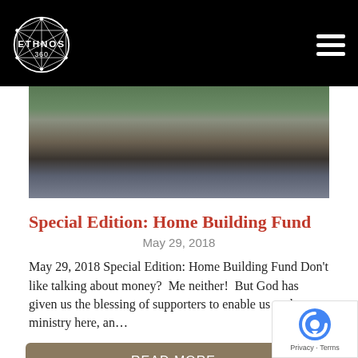ETHNOS 360
[Figure (photo): Outdoor photo of people (adults and children) standing near a rocky riverbank or stream area with greenery]
Special Edition: Home Building Fund
May 29, 2018
May 29, 2018 Special Edition: Home Building Fund Don't like talking about money?  Me neither!  But God has given us the blessing of supporters to enable us to do ministry here, an...
READ MORE